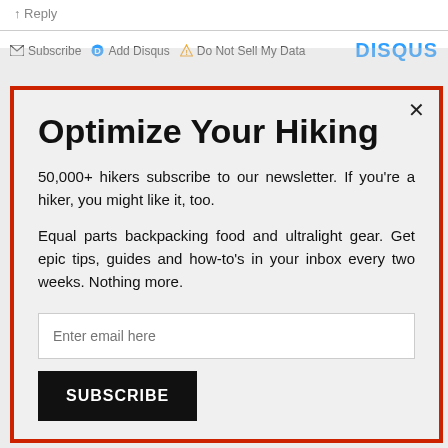Subscribe  Add Disqus  Do Not Sell My Data  DISQUS
Optimize Your Hiking
50,000+ hikers subscribe to our newsletter. If you're a hiker, you might like it, too.
Equal parts backpacking food and ultralight gear. Get epic tips, guides and how-to's in your inbox every two weeks. Nothing more.
Enter email here
SUBSCRIBE